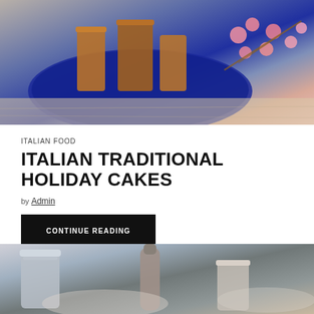[Figure (photo): Photo of copper/metallic cups on a blue plate with pink cherry blossom branches on a wooden table]
ITALIAN FOOD
ITALIAN TRADITIONAL HOLIDAY CAKES
by Admin
CONTINUE READING
[Figure (photo): Photo of metallic cups and a bottle, blurred background with plates]